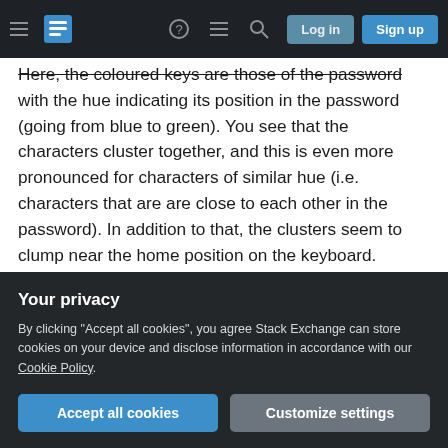Stack Exchange navigation bar with hamburger menu, logo, help, chat, search icons, Log in and Sign up buttons
Here, the coloured keys are those of the password with the hue indicating its position in the password (going from blue to green). You see that the characters cluster together, and this is even more pronounced for characters of similar hue (i.e. characters that are are close to each other in the password). In addition to that, the clusters seem to clump near the home position on the keyboard.

I must admit that I am not knowledgeable enough about password cracking software / password databases to say definitively whether or not such
Your privacy
By clicking "Accept all cookies", you agree Stack Exchange can store cookies on your device and disclose information in accordance with our Cookie Policy.
Accept all cookies  Customize settings